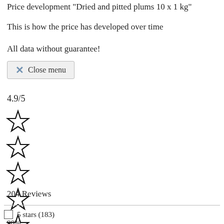Price development "Dried and pitted plums 10 x 1 kg"
This is how the price has developed over time
All data without guarantee!
Close menu
4.9/5
[Figure (other): Six empty star rating icons stacked vertically]
204 Reviews
5 stars (183)
90%